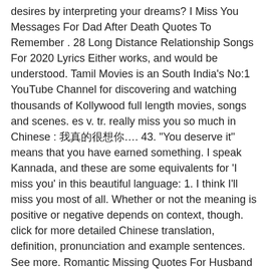desires by interpreting your dreams? I Miss You Messages For Dad After Death Quotes To Remember . 28 Long Distance Relationship Songs For 2020 Lyrics Either works, and would be understood. Tamil Movies is an South India's No:1 YouTube Channel for discovering and watching thousands of Kollywood full length movies, songs and scenes. es v. tr. really miss you so much in Chinese : 我真的很想你…. 43. "You deserve it" means that you have earned something. I speak Kannada, and these are some equivalents for 'I miss you' in this beautiful language: 1. I think I'll miss you most of all. Whether or not the meaning is positive or negative depends on context, though. click for more detailed Chinese translation, definition, pronunciation and example sentences. See more. Romantic Missing Quotes For Husband And Boyfriend I Miss . Our people really delighted to type in tamizh on these social media. Just rigid your IP address to a different country. I really miss my creature comforts like warm slippers and a soft bed." element lick taxes are calculated based on IP address and not on shipping address. Perhaps you're thinking of how you can express that feeling inside or you're thinking of the right words to use.